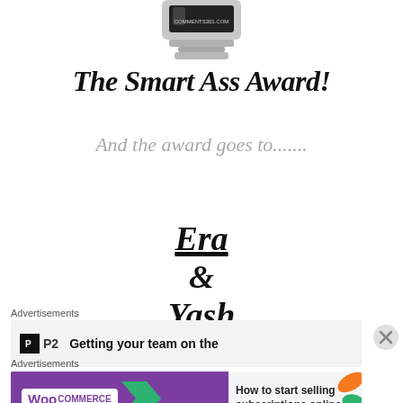[Figure (photo): Partial image of a trophy/award at the top of the page with text 'comments301.com' visible]
The Smart Ass Award!
And the award goes to.......
Era
&
Yash
Advertisements
[Figure (screenshot): P2 advertisement banner: Getting your team on the...]
Advertisements
[Figure (screenshot): WooCommerce advertisement: How to start selling subscriptions online]